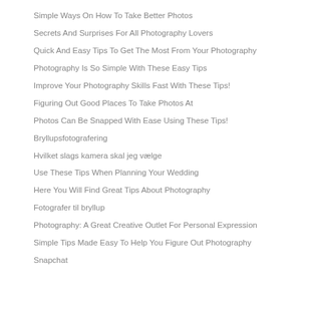Simple Ways On How To Take Better Photos
Secrets And Surprises For All Photography Lovers
Quick And Easy Tips To Get The Most From Your Photography
Photography Is So Simple With These Easy Tips
Improve Your Photography Skills Fast With These Tips!
Figuring Out Good Places To Take Photos At
Photos Can Be Snapped With Ease Using These Tips!
Bryllupsfotografering
Hvilket slags kamera skal jeg vælge
Use These Tips When Planning Your Wedding
Here You Will Find Great Tips About Photography
Fotografer til bryllup
Photography: A Great Creative Outlet For Personal Expression
Simple Tips Made Easy To Help You Figure Out Photography
Snapchat